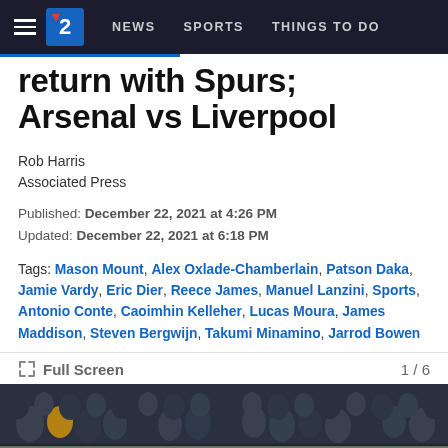NEWS  SPORTS  THINGS TO DO
return with Spurs; Arsenal vs Liverpool
Rob Harris
Associated Press
Published: December 22, 2021 at 4:26 PM
Updated: December 22, 2021 at 6:18 PM
Tags: Mason Mount, Alex Oxlade-Chamberlain, Patson Daka, Jamie Vardy, Eric Dier, Reece James, Manuel Lanzini, Sports, Antonio Conte, Caoimhin Kelleher, Lucas Moura, James Maddison, Steven Bergwijn, Takumi Minamino, Jarrod Bowen
Full Screen  1 / 6
[Figure (photo): Crowd of football fans in stadium stands at night]